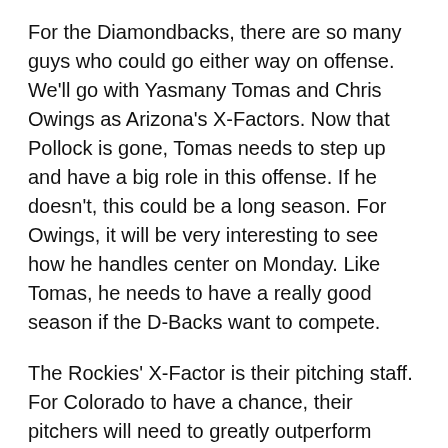For the Diamondbacks, there are so many guys who could go either way on offense. We'll go with Yasmany Tomas and Chris Owings as Arizona's X-Factors. Now that Pollock is gone, Tomas needs to step up and have a big role in this offense. If he doesn't, this could be a long season. For Owings, it will be very interesting to see how he handles center on Monday. Like Tomas, he needs to have a really good season if the D-Backs want to compete.
The Rockies' X-Factor is their pitching staff. For Colorado to have a chance, their pitchers will need to greatly outperform expectations in these first few games.
Series Prediction
Let's start out the season on an optimistic note. D-